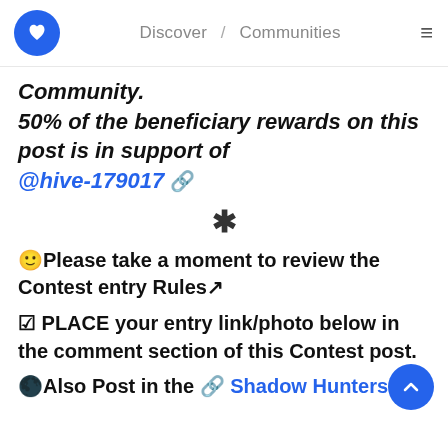Discover / Communities
Community.
50% of the beneficiary rewards on this post is in support of @hive-179017 🔗
* (divider asterisk)
🙂Please take a moment to review the Contest entry Rules↗
☑ PLACE your entry link/photo below in the comment section of this Contest post.
🌑Also Post in the 🔗 Shadow Hunters